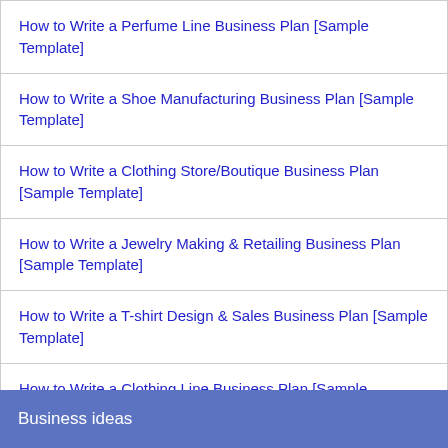How to Write a Perfume Line Business Plan [Sample Template]
How to Write a Shoe Manufacturing Business Plan [Sample Template]
How to Write a Clothing Store/Boutique Business Plan [Sample Template]
How to Write a Jewelry Making & Retailing Business Plan [Sample Template]
How to Write a T-shirt Design & Sales Business Plan [Sample Template]
How to Write a Clothing Line Business Plan [Sample Template]
Business ideas